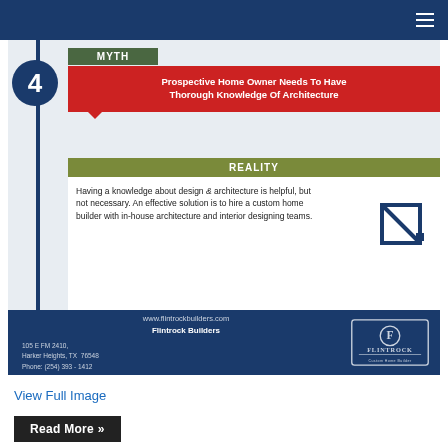[Figure (infographic): Infographic showing Myth 4: Prospective Home Owner Needs To Have Thorough Knowledge Of Architecture. Reality: Having a knowledge about design & architecture is helpful, but not necessary. An effective solution is to hire a custom home builder with in-house architecture and interior designing teams. Footer shows Flintrock Builders contact info: www.flintrockbuilders.com, 105 E FM 2410, Harker Heights, TX 76548, Phone: (254) 393-1412.]
View Full Image
Read More »